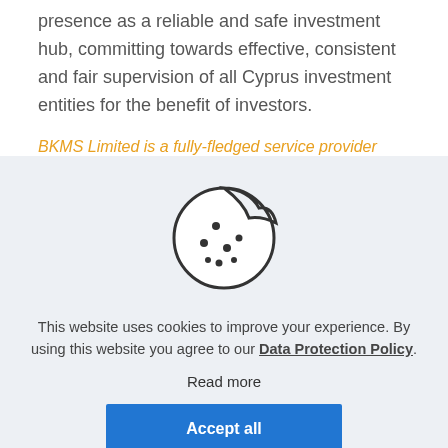presence as a reliable and safe investment hub, committing towards effective, consistent and fair supervision of all Cyprus investment entities for the benefit of investors.
BKMS Limited is a fully-fledged service provider
[Figure (illustration): Cookie icon — a round cookie with a bite taken out of the top-right, with several dots representing chocolate chips, drawn in outline style]
This website uses cookies to improve your experience. By using this website you agree to our Data Protection Policy.
Read more
Accept all